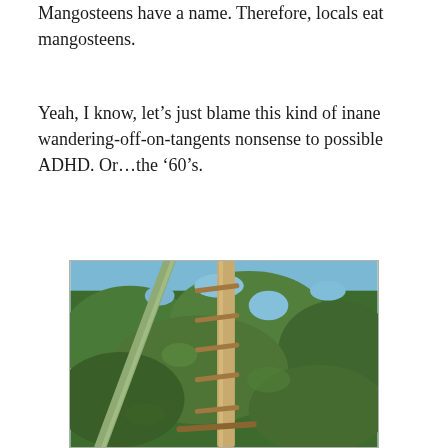Mangosteens have a name. Therefore, locals eat mangosteens.
Yeah, I know, let’s just blame this kind of inane wandering-off-on-tangents nonsense to possible ADHD. Or…the ’60’s.
[Figure (photo): Upward view of a bamboo ladder leaning against a mangosteen tree with green leafy canopy and blue sky visible through the branches.]